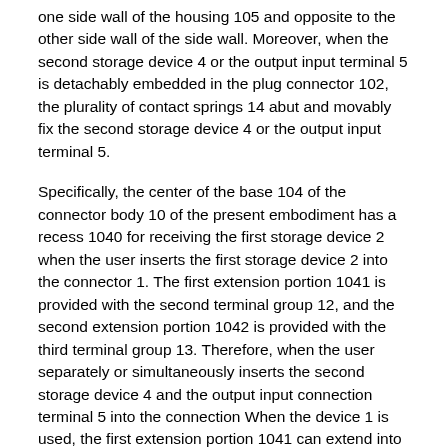one side wall of the housing 105 and opposite to the other side wall of the side wall. Moreover, when the second storage device 4 or the output input terminal 5 is detachably embedded in the plug connector 102, the plurality of contact springs 14 abut and movably fix the second storage device 4 or the output input terminal 5.
Specifically, the center of the base 104 of the connector body 10 of the present embodiment has a recess 1040 for receiving the first storage device 2 when the user inserts the first storage device 2 into the connector 1. The first extension portion 1041 is provided with the second terminal group 12, and the second extension portion 1042 is provided with the third terminal group 13. Therefore, when the user separately or simultaneously inserts the second storage device 4 and the output input connection terminal 5 into the connection When the device 1 is used, the first extension portion 1041 can extend into the second storage device 4, and the second extension portion 1042 can extend into the output input connection end 5, so that the terminal group of the second storage device 4 and the connector 1 are One end 120 of the two terminal group 12 is electrically connected, and the terminal group of the